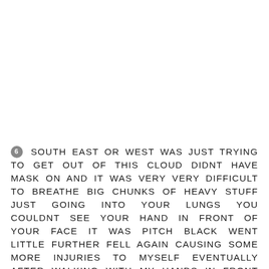6 SOUTH EAST OR WEST WAS JUST TRYING TO GET OUT OF THIS CLOUD DIDNT HAVE MASK ON AND IT WAS VERY VERY DIFFICULT TO BREATHE BIG CHUNKS OF HEAVY STUFF JUST GOING INTO YOUR LUNGS YOU COULDNT SEE YOUR HAND IN FRONT OF YOUR FACE IT WAS PITCH BLACK WENT LITTLE FURTHER FELL AGAIN CAUSING SOME MORE INJURIES TO MYSELF EVENTUALLY AFTER WALKING WITH MY HANDS IN FRONT OF ME LIKE BLIND MAN SAW UP AND TO THE RIGHT AND UP HIGH INSTEAD OF BEING DARK BLACK IT WAS DARK GRAY AND THE DARK GRAY TURNED INTO LIGHTER GRAY THEN REALIZED THAT WHAT WAS LOOKING AT WAS THE